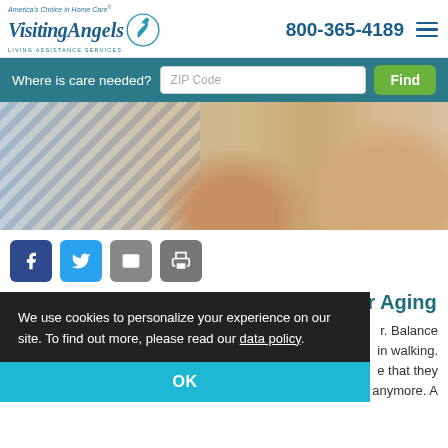America's Choice in Home Care® Visiting Angels LIVING ASSISTANCE SERVICES | 800-365-4189
Where is care needed? ZIP Code Find
[Figure (photo): Close-up photo of an elderly person on the floor, cropped showing torso and legs, wearing a blue floral shirt. A caregiver's hand is visible nearby on a wooden floor.]
[Figure (infographic): Social sharing buttons: Facebook (blue), Twitter (light blue), Email (gray), Print (gray)]
Fall Prevention Strategies and Tips for Aging
r. Balance in walking. e that they anymore. A
We use cookies to personalize your experience on our site. To find out more, please read our data policy.
OK